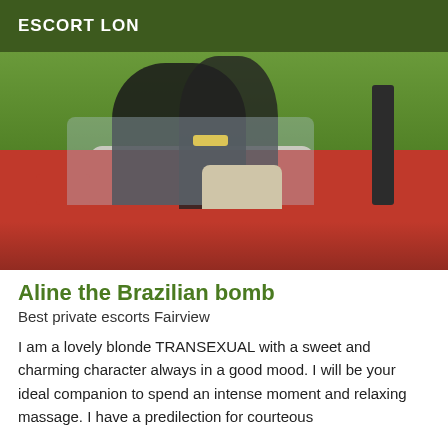ESCORT LON
[Figure (photo): Person sitting in a red convertible car with legs raised, wearing black stockings and a yellow bracelet, green foliage in background.]
Aline the Brazilian bomb
Best private escorts Fairview
I am a lovely blonde TRANSEXUAL with a sweet and charming character always in a good mood. I will be your ideal companion to spend an intense moment and relaxing massage. I have a predilection for courteous